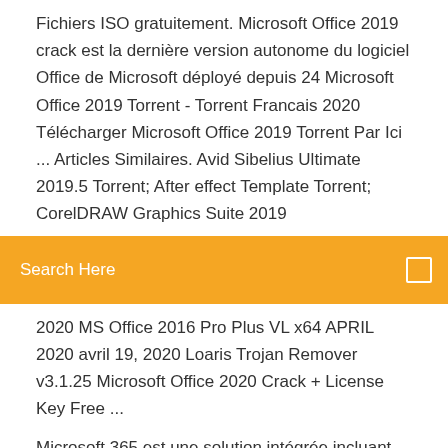Fichiers ISO gratuitement. Microsoft Office 2019 crack est la dernière version autonome du logiciel Office de Microsoft déployé depuis 24 Microsoft Office 2019 Torrent - Torrent Francais 2020 Télécharger Microsoft Office 2019 Torrent Par Ici ... Articles Similaires. Avid Sibelius Ultimate 2019.5 Torrent; After effect Template Torrent; CorelDRAW Graphics Suite 2019
Search Here
2020 MS Office 2016 Pro Plus VL x64 APRIL 2020 avril 19, 2020 Loaris Trojan Remover v3.1.25 Microsoft Office 2020 Crack + License Key Free ...
Microsoft 365 est une solution intégrée incluant Office 365, Windows 10, des fonctionnalités de sécurité avancées et favorisant le travail collaboratif. Logiciel de gestion de projet | Microsoft Project Microsoft Project et Microsoft Teams, l'alliance parfaite . Utilisez Project et Teams pour tirer parti de fonctionnalités de collaboration et de gestion dans le cadre de